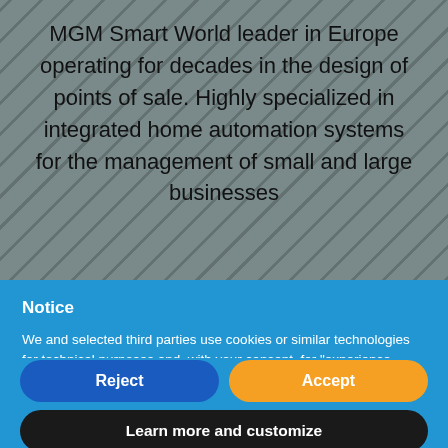MGM Smart World leader in Europe operating for decades in the design of points of sale. Highly specialized in integrated home automation systems for the management of small and large businesses
Notice
We and selected third parties use cookies or similar technologies for technical purposes and, with your consent, for "experience enhancement" as specified in the cookie policy. Denying consent may make related features unavailable. You can freely give, deny, or withdraw your consent at any time.
Reject
Accept
Learn more and customize